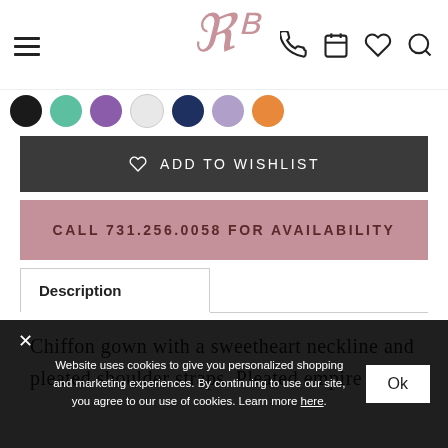Navigation bar with hamburger menu, RB logo, phone, calendar, heart, search icons
[Figure (other): Color swatch circles: black, teal/mint, purple, white, navy, lavender, orange]
ADD TO WISHLIST
CALL 731.256.0058 FOR AVAILABILITY
Description
Chiffon gown with a sweetheart neckline and pleated shoulder straps. Pleated empire bodice
Website uses cookies to give you personalized shopping and marketing experiences. By continuing to use our site, you agree to our use of cookies. Learn more here.